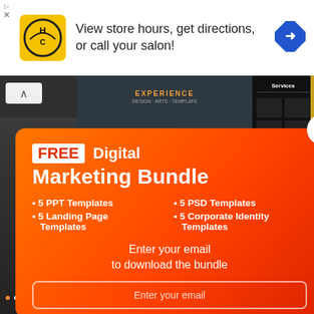[Figure (screenshot): Ad banner with HC salon logo, text 'View store hours, get directions, or call your salon!', and a blue navigation arrow icon]
[Figure (screenshot): Background showing website template previews: dark slide with numbers 100/120, middle dark slide with overlay text, black slide with Services grid, and white/yellow mockup slides on the right]
[Figure (infographic): Orange gradient popup modal offering FREE Digital Marketing Bundle including 5 PPT Templates, 5 PSD Templates, 5 Landing Page Templates, 5 Corporate Identity Templates. Has email input field and Get Bundle button. White X close button at top right.]